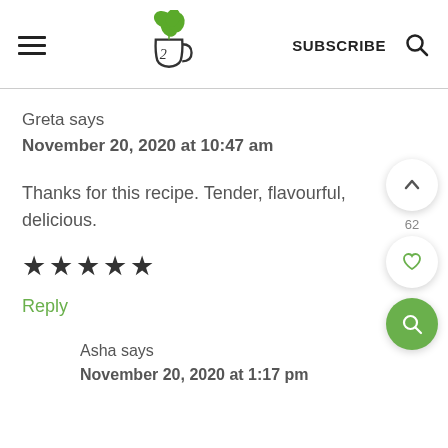Cup of L — SUBSCRIBE
Greta says
November 20, 2020 at 10:47 am
Thanks for this recipe. Tender, flavourful, delicious.
★★★★★
Reply
Asha says
November 20, 2020 at 1:17 pm